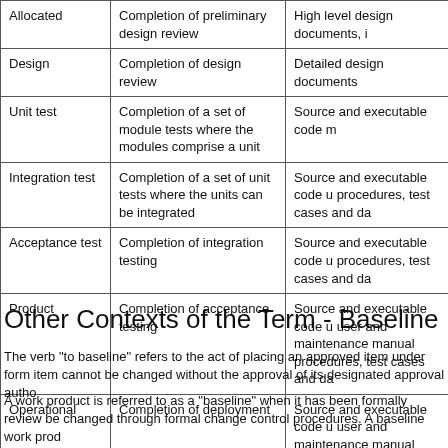|  | Entry criteria | Work products |
| --- | --- | --- |
| Allocated | Completion of preliminary design review | High level design documents, i… |
| Design | Completion of design review | Detailed design documents |
| Unit test | Completion of a set of module tests where the modules comprise a unit | Source and executable code m… |
| Integration test | Completion of a set of unit tests where the units can be integrated | Source and executable code u… procedures, test cases and da… |
| Acceptance test | Completion of integration testing | Source and executable code u… procedures, test cases and da… |
| Product | Completion of acceptance testing | Source and executable code u… user and maintenance manual… procedures, test cases and da… |
| Operational | Completion of deployment | Source and executable code u… user and maintenance manual… procedures, site integration tes… reports |
Other Contexts of the Term - Baseline
The verb "to baseline" refers to the act of placing an approved item under form… item cannot be changed without the approval of its designated approval autho…
A work product is referred to as a "baseline" when it has been formally review… be changed through formal change control procedures. A baseline work prod…